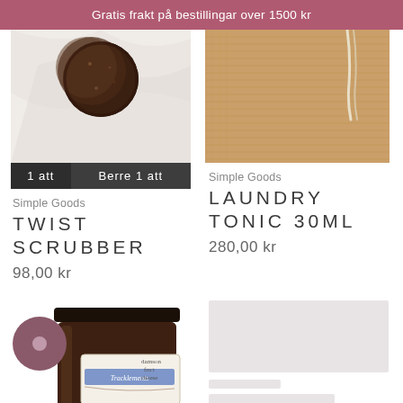Gratis frakt på bestillingar over 1500 kr
[Figure (photo): Close-up photo of a dark brown spherical scrubber on marble surface]
1 att    Berre 1 att
Simple Goods
TWIST SCRUBBER
98,00 kr
[Figure (photo): Photo of a tan fabric/textile bag with a cord tie on a warm background]
Simple Goods
LAUNDRY TONIC 30ML
280,00 kr
[Figure (photo): Tracklements damson fruit cheese jam jar with circular brand overlay icon]
[Figure (other): Loading skeleton placeholder for a product card]